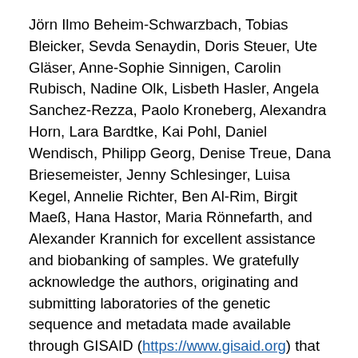Jörn Ilmo Beheim-Schwarzbach, Tobias Bleicker, Sevda Senaydin, Doris Steuer, Ute Gläser, Anne-Sophie Sinnigen, Carolin Rubisch, Nadine Olk, Lisbeth Hasler, Angela Sanchez-Rezza, Paolo Kroneberg, Alexandra Horn, Lara Bardtke, Kai Pohl, Daniel Wendisch, Philipp Georg, Denise Treue, Dana Briesemeister, Jenny Schlesinger, Luisa Kegel, Annelie Richter, Ben Al-Rim, Birgit Maeß, Hana Hastor, Maria Rönnefarth, and Alexander Krannich for excellent assistance and biobanking of samples. We gratefully acknowledge the authors, originating and submitting laboratories of the genetic sequence and metadata made available through GISAID (https://www.gisaid.org) that were used in Appendix Figure 1.
Parts of this work was supported by grants from the Berlin Institute of Health (BIH). This study was further